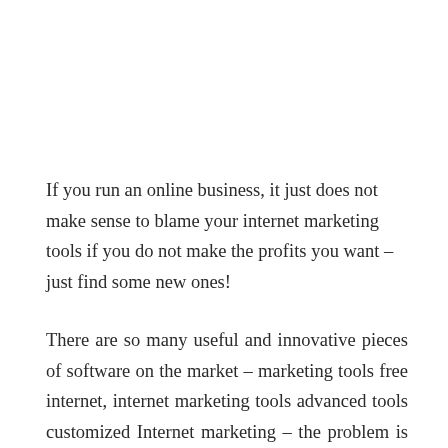If you run an online business, it just does not make sense to blame your internet marketing tools if you do not make the profits you want – just find some new ones!
There are so many useful and innovative pieces of software on the market – marketing tools free internet, internet marketing tools advanced tools customized Internet marketing – the problem is sorting through the thousands of options for find the ones that are just right for you. The first